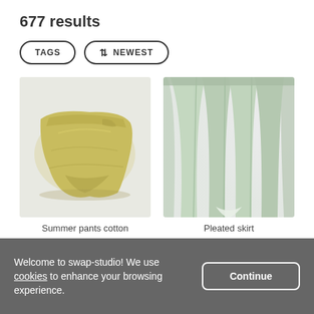677 results
TAGS
↕ NEWEST
[Figure (photo): Folded yellow/cream summer cotton pants laid flat on a light background]
Summer pants cotton
10 kudos
[Figure (photo): Close-up of a pleated light green skirt hanging against a white/light background]
Pleated skirt
15 kudos
Welcome to swap-studio! We use cookies to enhance your browsing experience.
Continue